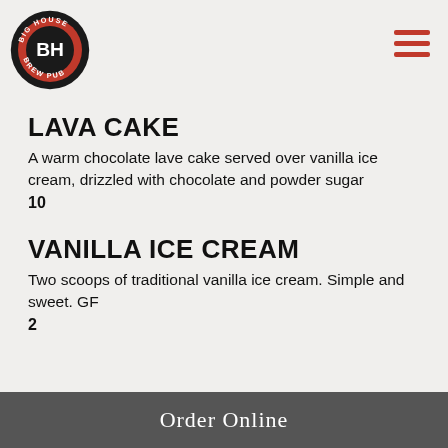[Figure (logo): Big House Brew Pub circular logo with orange background, BH letters in white, text around the circle]
LAVA CAKE
A warm chocolate lave cake served over vanilla ice cream, drizzled with chocolate and powder sugar
10
VANILLA ICE CREAM
Two scoops of traditional vanilla ice cream. Simple and sweet. GF
2
Order Online